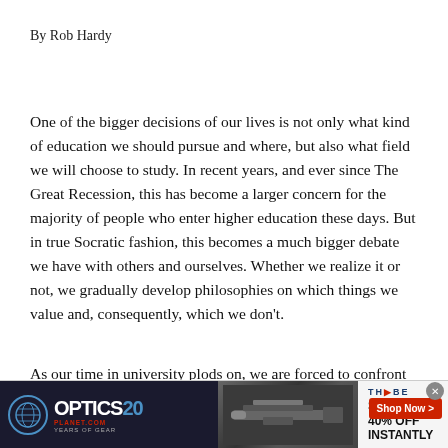By Rob Hardy
One of the bigger decisions of our lives is not only what kind of education we should pursue and where, but also what field we will choose to study. In recent years, and ever since The Great Recession, this has become a larger concern for the majority of people who enter higher education these days. But in true Socratic fashion, this becomes a much bigger debate we have with others and ourselves. Whether we realize it or not, we gradually develop philosophies on which things we value and, consequently, which we don't.
As our time in university plods on, we are forced to confront
[Figure (other): Advertisement banner for OpticsPlanet featuring 'SAVE UP TO 40% OFF INSTANTLY' with a Shop Now button and Thvbe logo, with rifle image]